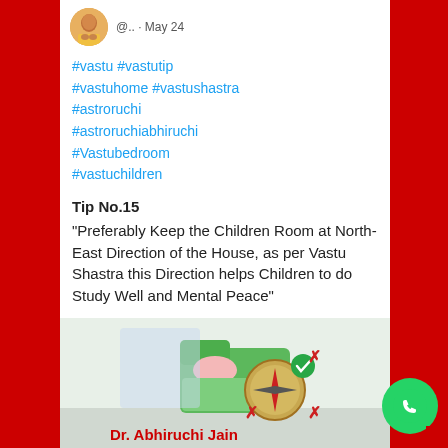[Figure (screenshot): Twitter/social media post screenshot showing avatar and handle @.. · May 24]
#vastu #vastutip #vastuhome #vastushastra #astroruchi #astroruchiabhiruchi #Vastubedroom #vastuchildren
Tip No.15
"Preferably Keep the Children Room at North-East Direction of the House, as per Vastu Shastra this Direction helps Children to do Study Well and Mental Peace"
[Figure (illustration): Illustration showing a children's room with bed, compass with cross/check marks, and text 'Dr. Abhiruchi Jain']
[Figure (logo): WhatsApp button (green circle with phone icon)]